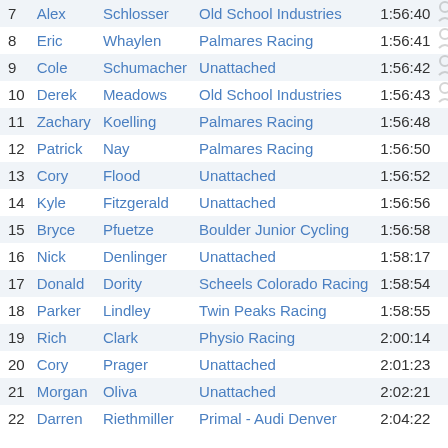| Pos | First | Last | Team | Time |  |
| --- | --- | --- | --- | --- | --- |
| 7 | Alex | Schlosser | Old School Industries | 1:56:40 |  |
| 8 | Eric | Whaylen | Palmares Racing | 1:56:41 |  |
| 9 | Cole | Schumacher | Unattached | 1:56:42 |  |
| 10 | Derek | Meadows | Old School Industries | 1:56:43 |  |
| 11 | Zachary | Koelling | Palmares Racing | 1:56:48 |  |
| 12 | Patrick | Nay | Palmares Racing | 1:56:50 |  |
| 13 | Cory | Flood | Unattached | 1:56:52 |  |
| 14 | Kyle | Fitzgerald | Unattached | 1:56:56 |  |
| 15 | Bryce | Pfuetze | Boulder Junior Cycling | 1:56:58 |  |
| 16 | Nick | Denlinger | Unattached | 1:58:17 |  |
| 17 | Donald | Dority | Scheels Colorado Racing | 1:58:54 |  |
| 18 | Parker | Lindley | Twin Peaks Racing | 1:58:55 |  |
| 19 | Rich | Clark | Physio Racing | 2:00:14 |  |
| 20 | Cory | Prager | Unattached | 2:01:23 |  |
| 21 | Morgan | Oliva | Unattached | 2:02:21 |  |
| 22 | Darren | Riethmiller | Primal - Audi Denver | 2:04:22 |  |